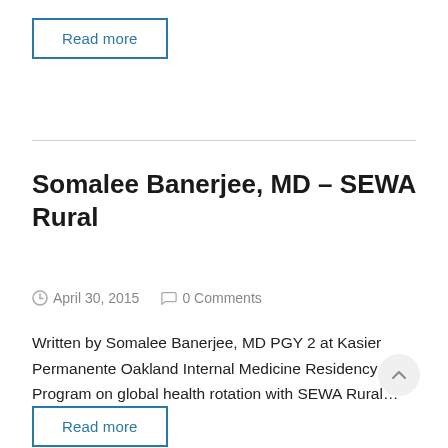Read more
Somalee Banerjee, MD – SEWA Rural
April 30, 2015   0 Comments
Written by Somalee Banerjee, MD PGY 2 at Kasier Permanente Oakland Internal Medicine Residency Program on global health rotation with SEWA Rural...
Read more